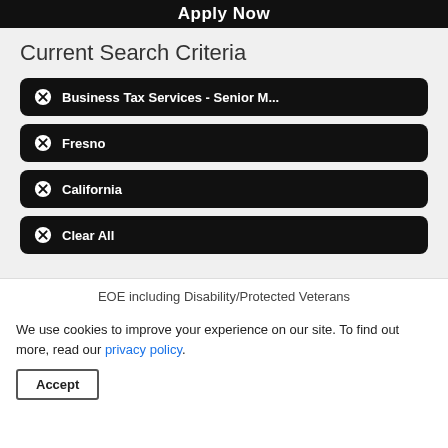Apply Now
Current Search Criteria
✕ Business Tax Services - Senior M...
✕ Fresno
✕ California
✕ Clear All
EOE including Disability/Protected Veterans
We use cookies to improve your experience on our site. To find out more, read our privacy policy.
Accept